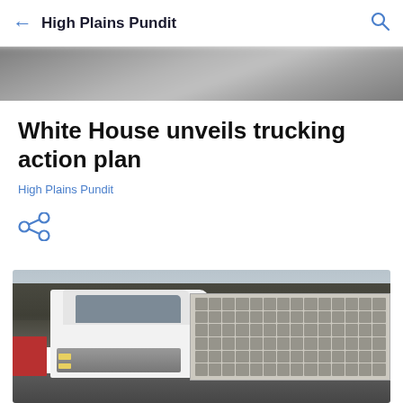High Plains Pundit
[Figure (photo): Blurred hero background image at top of mobile article page]
White House unveils trucking action plan
High Plains Pundit
[Figure (photo): White semi-truck with ventilated livestock trailer parked, bare winter trees in background, partial red vehicle visible at left]